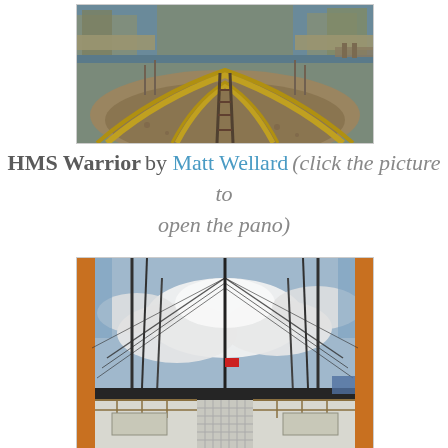[Figure (photo): Panoramic fisheye photo of a dry dock or boat slip with metal rails/tracks running through mud and gravel, water visible in background with industrial buildings and a pier.]
HMS Warrior by Matt Wellard (click the picture to open the pano)
[Figure (photo): Panoramic fisheye photo of the deck of HMS Warrior warship, showing rigging, masts, ropes, white deck with railings, a small red flag in the middle distance, and dramatic cloudy sky above.]